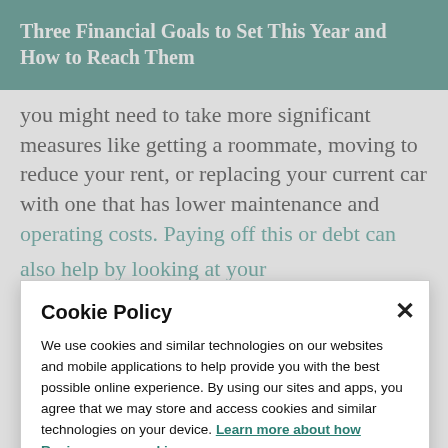Three Financial Goals to Set This Year and How to Reach Them
you might need to take more significant measures like getting a roommate, moving to reduce your rent, or replacing your current car with one that has lower maintenance and operating costs. Paying off this or debt can
Cookie Policy
We use cookies and similar technologies on our websites and mobile applications to help provide you with the best possible online experience. By using our sites and apps, you agree that we may store and access cookies and similar technologies on your device. Learn more about how Regions uses cookies.
I Understand
checking account